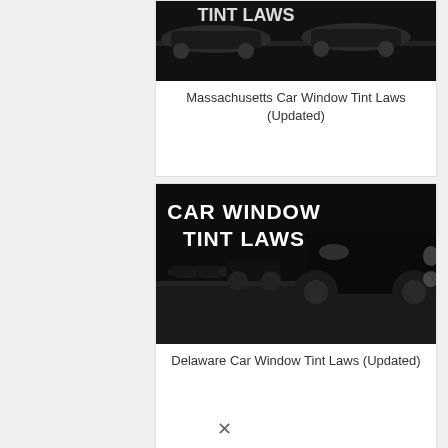[Figure (photo): Black and white photo of car with tint laws text overlay (partially cropped at top), Massachusetts card]
Massachusetts Car Window Tint Laws (Updated)
[Figure (photo): Black and white photo of a row of dark cars on a road with text overlay reading CAR WINDOW TINT LAWS]
Delaware Car Window Tint Laws (Updated)